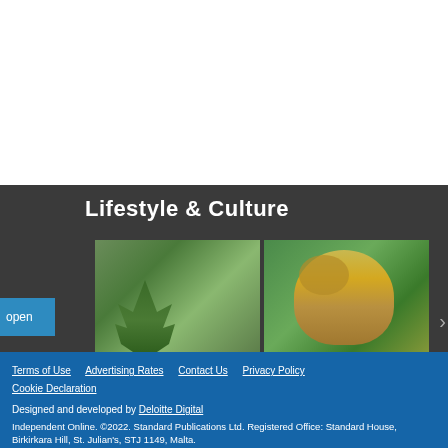Lifestyle & Culture
[Figure (photo): Two images side by side: left shows green cannabis/herb leaves close-up, right shows a painted illustration of a person with yellow-green hair sleeping or resting]
open
Terms of Use  Advertising Rates  Contact Us  Privacy Policy  Cookie Declaration

Designed and developed by Deloitte Digital

Independent Online. ©2022. Standard Publications Ltd. Registered Office: Standard House, Birkirkara Hill, St. Julian's, STJ 1149, Malta.